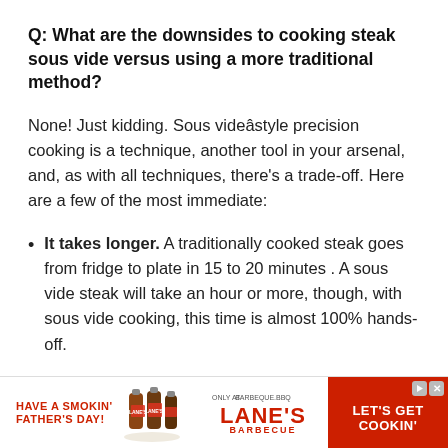Q: What are the downsides to cooking steak sous vide versus using a more traditional method?
None! Just kidding. Sous videâstyle precision cooking is a technique, another tool in your arsenal, and, as with all techniques, there’s a trade-off. Here are a few of the most immediate:
It takes longer. A traditionally cooked steak goes from fridge to plate in 15 to 20 minutes . A sous vide steak will take an hour or more, though, with sous vide cooking, this time is almost 100% hands-off.
You will not achieve the exact same sear. Flag-waving sous vide zealots may claim otherwise, but the rapid sear
[Figure (photo): Advertisement banner for Lane's BBQ featuring sauce bottles, text 'Have a Smokin' Father's Day!', Lane's BBQ logo, and red button 'Let's Get Cookin']